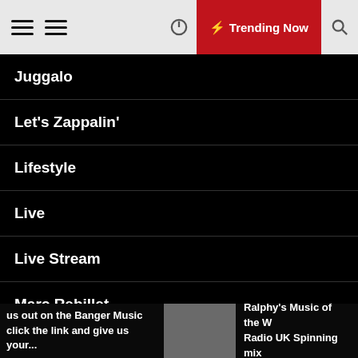Trending Now
Juggalo
Let's Zappalin'
Lifestyle
Live
Live Stream
Marc Rebillet
Metal
us out on the Banger Music click the link and give us your... | Ralphy's Music of the W Radio UK Spinning mix